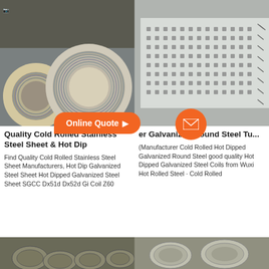[Figure (photo): Wire coil spools on left, perforated metal sheet on right]
Online Quote
[Figure (other): Orange email circle icon]
Quality Cold Rolled Stainless Steel Sheet & Hot Dip
Find Quality Cold Rolled Stainless Steel Sheet Manufacturers, Hot Dip Galvanized Steel Sheet Hot Dipped Galvanized Steel Sheet SGCC Dx51d Dx52d Gi Coil Z60
er Galvanized Round Steel Tu...
(Manufacturer Cold Rolled Hot Dipped Galvanized Round Steel good quality Hot Dipped Galvanized Steel Coils from Wuxi Hot Rolled Steel · Cold Rolled
[Figure (photo): Wire coils and steel wire products strip at bottom]